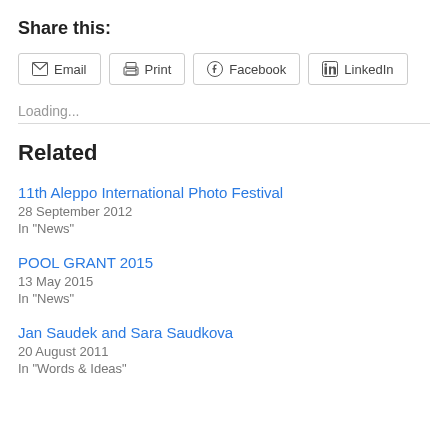Share this:
Email  Print  Facebook  LinkedIn
Loading...
Related
11th Aleppo International Photo Festival
28 September 2012
In "News"
POOL GRANT 2015
13 May 2015
In "News"
Jan Saudek and Sara Saudkova
20 August 2011
In "Words & Ideas"